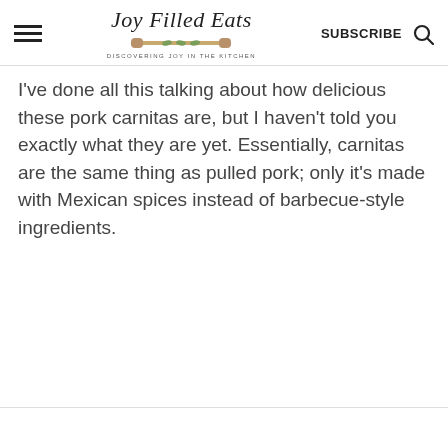Joy Filled Eats — DISCOVERING JOY IN THE KITCHEN — SUBSCRIBE
I've done all this talking about how delicious these pork carnitas are, but I haven't told you exactly what they are yet. Essentially, carnitas are the same thing as pulled pork; only it's made with Mexican spices instead of barbecue-style ingredients.